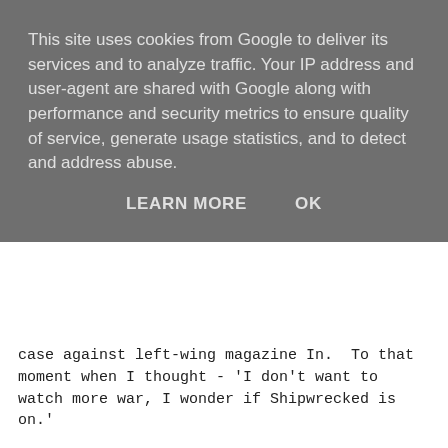This site uses cookies from Google to deliver its services and to analyze traffic. Your IP address and user-agent are shared with Google along with performance and security metrics to ensure quality of service, generate usage statistics, and to detect and address abuse.
LEARN MORE   OK
case against left-wing magazine In. To that moment when I thought - 'I don't want to watch more war, I wonder if Shipwrecked is on.'
And then it occurred to me: '...steady repetitive backdrop... a pantoum would be the perfect form to reflect these emotions!'
So here it is:
Live in your Living Room
Now that we can watch them making war